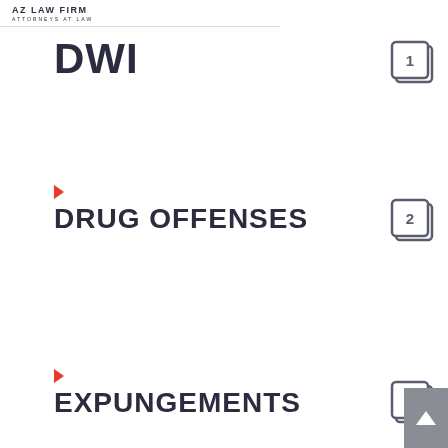AZ LAW FIRM
ATTORNEYS AT LAW
DWI
[Figure (other): Page icon showing number 1 in a rounded square, representing item 1]
DRUG OFFENSES
[Figure (other): Page icon showing number 2 in a rounded square, representing item 2]
EXPUNGEMENTS
[Figure (other): Page icon showing number 3 in a rounded square, representing item 3]